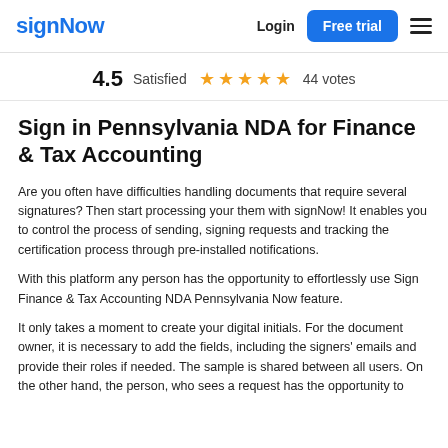signNow | Login | Free trial
4.5 Satisfied ★★★★★ 44 votes
Sign in Pennsylvania NDA for Finance & Tax Accounting
Are you often have difficulties handling documents that require several signatures? Then start processing your them with signNow! It enables you to control the process of sending, signing requests and tracking the certification process through pre-installed notifications.
With this platform any person has the opportunity to effortlessly use Sign Finance & Tax Accounting NDA Pennsylvania Now feature.
It only takes a moment to create your digital initials. For the document owner, it is necessary to add the fields, including the signers' emails and provide their roles if needed. The sample is shared between all users. On the other hand, the person, who sees a request has the opportunity to